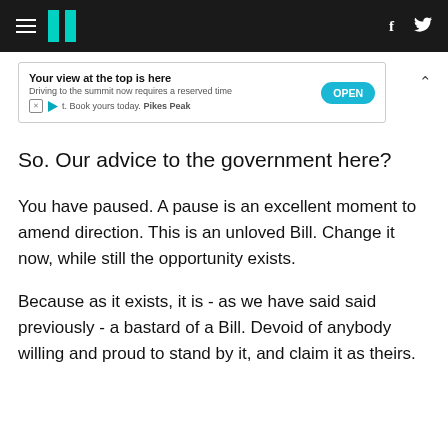HuffPost navigation with hamburger menu, logo, Facebook and Twitter icons
[Figure (other): Advertisement banner: 'Your view at the top is here - Driving to the summit now requires a reserved time. Book yours today. Pikes Peak' with an OPEN button]
So. Our advice to the government here?
You have paused. A pause is an excellent moment to amend direction. This is an unloved Bill. Change it now, while still the opportunity exists.
Because as it exists, it is - as we have said said previously - a bastard of a Bill. Devoid of anybody willing and proud to stand by it, and claim it as theirs.